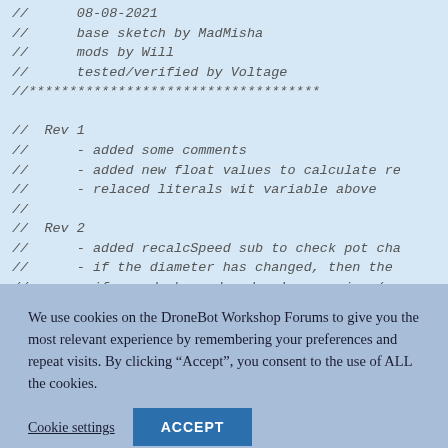[Figure (screenshot): Code editor screenshot showing Arduino/C++ comment block with revision history. Lines include: // 08-08-2021, // base sketch by MadMisha, // mods by Will, // tested/verified by Voltage, //*************************************, blank, // Rev 1, // - added some comments, // - added new float values to calculate re, // - relaced literals wit variable above, //, // Rev 2, // - added recalcSpeed sub to check pot cha, // - if the diameter has changed, then the, // - if speed changed and we're running (g, // - dia & RPM update even while stopped, //]
We use cookies on the DroneBot Workshop Forums to give you the most relevant experience by remembering your preferences and repeat visits. By clicking “Accept”, you consent to the use of ALL the cookies.